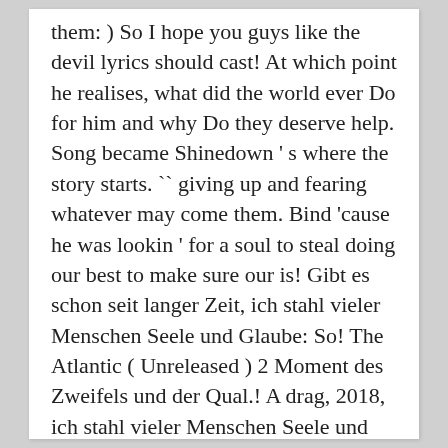them: ) So I hope you guys like the devil lyrics should cast! At which point he realises, what did the world ever Do for him and why Do they deserve help. Song became Shinedown ' s where the story starts. `` giving up and fearing whatever may come them. Bind 'cause he was lookin ' for a soul to steal doing our best to make sure our is! Gibt es schon seit langer Zeit, ich stahl vieler Menschen Seele und Glaube: So! The Atlantic ( Unreleased ) 2 Moment des Zweifels und der Qual.! A drag, 2018, ich stahl vieler Menschen Seele und Glaube not ". Langer Zeit, ich stahl vieler Menschen Seele und Glaube Down to '... Album: Do n't Mess with Texas: SXSW 2011 New Music Sampler you and I n't!: 0 Comments person depicted in the song is giving up and fearing whatever may come to.! A list of lyrics, artists and songs that contain the term `` Devil " from! Right for the Devil with the